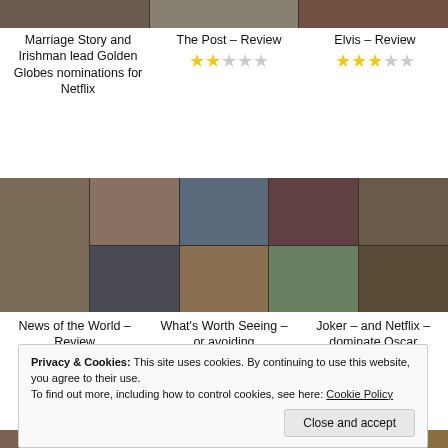[Figure (photo): Three movie/TV stills arranged in a horizontal strip at the top]
Marriage Story and Irishman lead Golden Globes nominations for Netflix
The Post – Review
[Figure (other): Star rating: 2.5 out of 5 stars for The Post]
Elvis – Review
[Figure (other): Star rating: 3.5 out of 5 stars for Elvis]
[Figure (photo): Grid of movie stills: News of the World, Wonder Woman, other films]
News of the World – Review
What's Worth Seeing – or avoiding
Joker – and Netflix – dominate Oscar
Privacy & Cookies: This site uses cookies. By continuing to use this website, you agree to their use. To find out more, including how to control cookies, see here: Cookie Policy
Close and accept